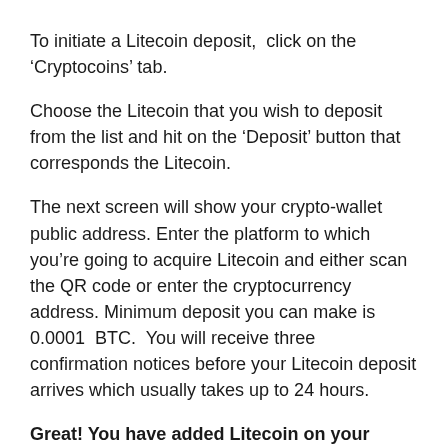To initiate a Litecoin deposit,  click on the ‘Cryptocoins’ tab.
Choose the Litecoin that you wish to deposit from the list and hit on the ‘Deposit’ button that corresponds the Litecoin.
The next screen will show your crypto-wallet public address. Enter the platform to which you’re going to acquire Litecoin and either scan the QR code or enter the cryptocurrency address. Minimum deposit you can make is 0.0001  BTC.  You will receive three confirmation notices before your Litecoin deposit arrives which usually takes up to 24 hours.
Great! You have added Litecoin on your BitInka account.
2. Deposit Fiat money on your